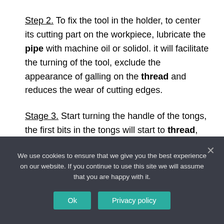Step 2. To fix the tool in the holder, to center its cutting part on the workpiece, lubricate the pipe with machine oil or solidol. it will facilitate the turning of the tool, exclude the appearance of galling on the thread and reduces the wear of cutting edges.
Stage 3. Start turning the handle of the tongs, the first bits in the tongs will start to thread, and the next ones will finish it for more accuracy
We use cookies to ensure that we give you the best experience on our website. If you continue to use this site we will assume that you are happy with it.